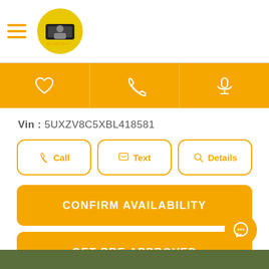[Figure (screenshot): Mobile website header with hamburger menu icon and circular dealership logo]
[Figure (screenshot): Orange navigation bar with heart/favorite icon, phone icon, and microphone icon]
Vin : 5UXZV8C5XBL418581
[Figure (screenshot): Three action buttons: Call, Text, Details with orange icons and borders]
[Figure (screenshot): Three orange CTA buttons: CONFIRM AVAILABILITY, GET PRE APPROVED, VALUE YOUR TRADE]
[Figure (screenshot): Orange chat bubble icon in bottom right corner]
[Figure (screenshot): Dark green bottom strip]